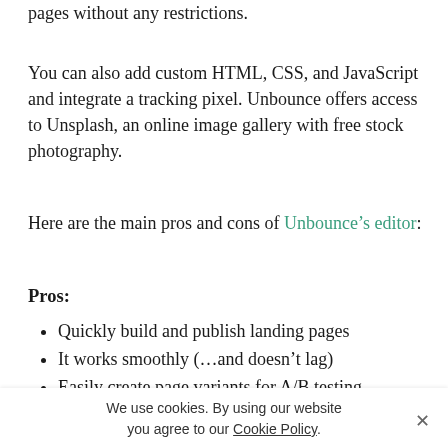pages without any restrictions.
You can also add custom HTML, CSS, and JavaScript and integrate a tracking pixel. Unbounce offers access to Unsplash, an online image gallery with free stock photography.
Here are the main pros and cons of Unbounce’s editor:
Pros:
Quickly build and publish landing pages
It works smoothly (…and doesn’t lag)
Easily create page variants for A/B testing
Create fully personalized landing pages
Make use of beautiful templates
We use cookies. By using our website you agree to our Cookie Policy.